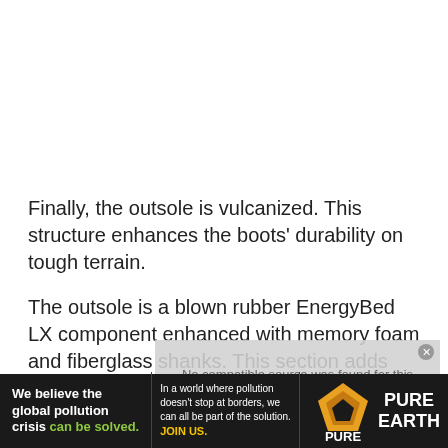Finally, the outsole is vulcanized. This structure enhances the boots' durability on tough terrain.
The outsole is a blown rubber EnergyBed LX component enhanced with memory foam and fiberglass shanks. This section adds stability and support to the overall structure.
[Figure (other): Video player overlay showing 'No compatible source was found for this media.' message with close button]
[Figure (infographic): Pure Earth advertisement banner: 'We believe the global pollution crisis can be solved.' with Pure Earth logo and text about pollution not stopping at borders.]